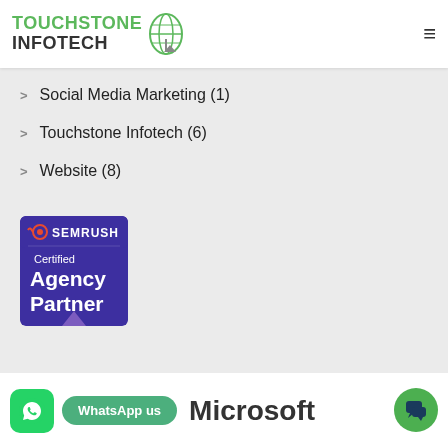[Figure (logo): Touchstone Infotech logo with globe graphic and green/dark text]
Social Media Marketing (1)
Touchstone Infotech (6)
Website (8)
[Figure (logo): SEMrush Certified Agency Partner badge — dark purple/indigo square badge with SEMrush logo and text]
[Figure (logo): WhatsApp icon (green rounded square), WhatsApp us button (green pill), Microsoft text, and chat bubble icon]